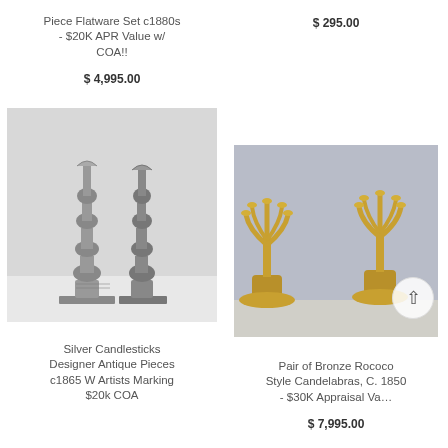Piece Flatware Set c1880s - $20K APR Value w/ COA!!
$ 4,995.00
[Figure (photo): Two ornate silver candlesticks, antique style, on square bases]
Silver Candlesticks Designer Antique Pieces c1865 W Artists Marking $20k COA
$ 295.00
[Figure (photo): Pair of golden bronze Rococo style candelabras with multiple arms]
Pair of Bronze Rococo Style Candelabras, C. 1850 - $30K Appraisal Va…
$ 7,995.00